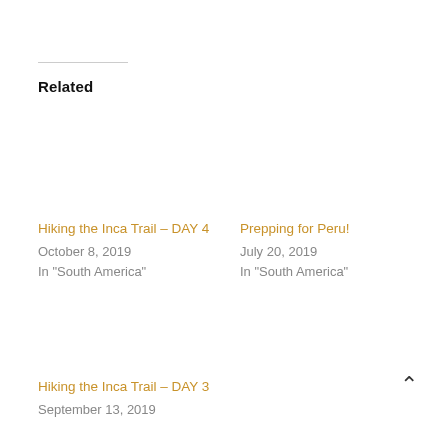Related
Hiking the Inca Trail – DAY 4
October 8, 2019
In "South America"
Prepping for Peru!
July 20, 2019
In "South America"
Hiking the Inca Trail – DAY 3
September 13, 2019